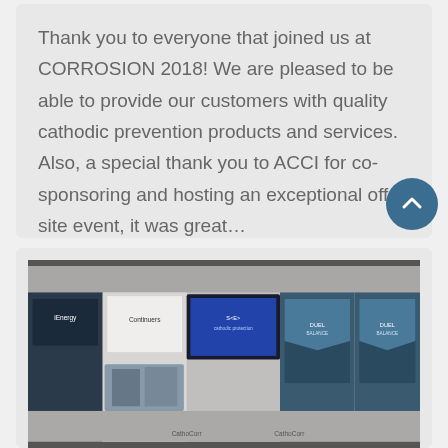Thank you to everyone that joined us at CORROSION 2018! We are pleased to be able to provide our customers with quality cathodic prevention products and services. Also, a special thank you to ACCI for co-sponsoring and hosting an exceptional off-site event, it was great…
[Figure (photo): Trade show / exhibition booth photo showing displays, a large monitor/screen, and product banners including CathoCorr branding, at the CORROSION 2018 event.]